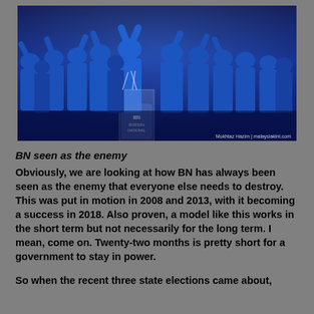[Figure (photo): Group of people in blue shirts celebrating on stage with raised fists, at a Barisan Nasional event. A speaker stands at a podium with the BN logo. Photo credit: Mukhtaz Hazim | malaysiakini.com]
BN seen as the enemy
Obviously, we are looking at how BN has always been seen as the enemy that everyone else needs to destroy. This was put in motion in 2008 and 2013, with it becoming a success in 2018. Also proven, a model like this works in the short term but not necessarily for the long term. I mean, come on. Twenty-two months is pretty short for a government to stay in power.
So when the recent three state elections came about,